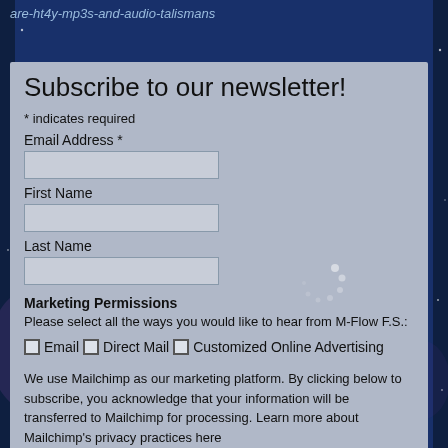are-ht4y-mp3s-and-audio-talismans
Subscribe to our newsletter!
* indicates required
Email Address *
First Name
Last Name
Marketing Permissions
Please select all the ways you would like to hear from M-Flow F.S.:
Email   Direct Mail   Customized Online Advertising
We use Mailchimp as our marketing platform. By clicking below to subscribe, you acknowledge that your information will be transferred to Mailchimp for processing. Learn more about Mailchimp's privacy practices here